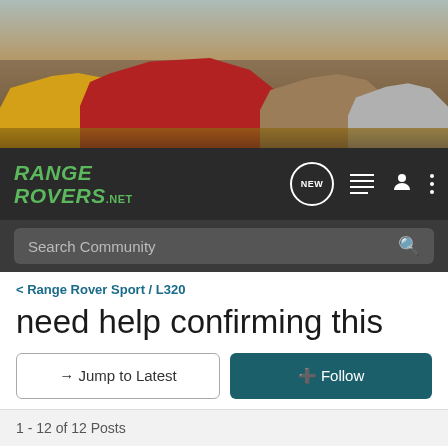[Figure (photo): Banner photo of multiple Range Rover SUVs parked outdoors including a yellow classic, red modern, bronze sport, and silver model]
[Figure (screenshot): RangeRovers.net navigation bar with logo, NEW chat badge, menu icons, user icon, and more dots icon]
[Figure (screenshot): Dark search bar with 'Search Community' placeholder text and search icon]
< Range Rover Sport / L320
need help confirming this
→ Jump to Latest
+ Follow
1 - 12 of 12 Posts
WhiteRangie · Registered
Joined Nov 29, 2005 · 13 Posts